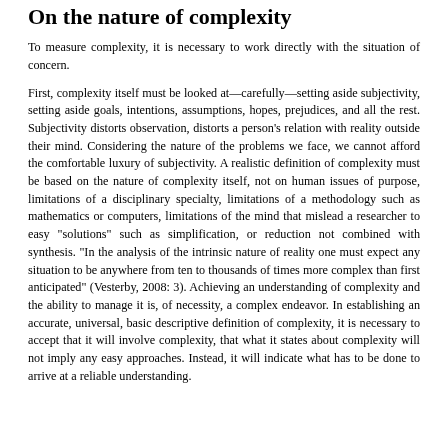On the nature of complexity
To measure complexity, it is necessary to work directly with the situation of concern.
First, complexity itself must be looked at—carefully—setting aside subjectivity, setting aside goals, intentions, assumptions, hopes, prejudices, and all the rest. Subjectivity distorts observation, distorts a person’s relation with reality outside their mind. Considering the nature of the problems we face, we cannot afford the comfortable luxury of subjectivity. A realistic definition of complexity must be based on the nature of complexity itself, not on human issues of purpose, limitations of a disciplinary specialty, limitations of a methodology such as mathematics or computers, limitations of the mind that mislead a researcher to easy “solutions” such as simplification, or reduction not combined with synthesis. “In the analysis of the intrinsic nature of reality one must expect any situation to be anywhere from ten to thousands of times more complex than first anticipated” (Vesterby, 2008: 3). Achieving an understanding of complexity and the ability to manage it is, of necessity, a complex endeavor. In establishing an accurate, universal, basic descriptive definition of complexity, it is necessary to accept that it will involve complexity, that what it states about complexity will not imply any easy approaches. Instead, it will indicate what has to be done to arrive at a reliable understanding.